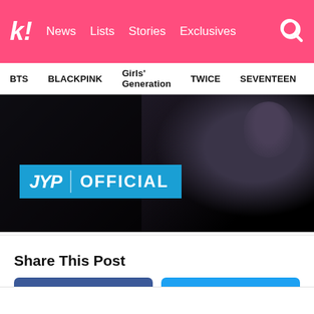k! News  Lists  Stories  Exclusives
BTS  BLACKPINK  Girls' Generation  TWICE  SEVENTEEN
[Figure (screenshot): JYP Official YouTube channel thumbnail — dark scene with person in background, blue JYP OFFICIAL banner overlay in lower left]
Share This Post
Facebook
Twitter